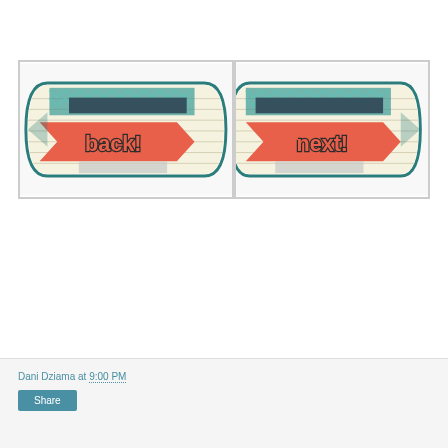[Figure (photo): Two pencil-shaped navigation cards side by side. Left card shows a coral/salmon colored arrow banner with 'back!' text in dark outlined letters over a lined paper background with teal chevron pattern and dark navy tape accent. Right card shows a similar coral arrow banner with 'next!' text over the same lined paper and chevron background.]
Dani Dziama at 9:00 PM
Share